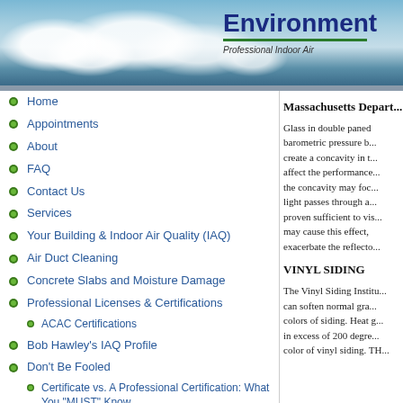[Figure (photo): Website header banner with blue sky and white clouds background, company name 'Environment...' in dark blue bold text with green underline, subtitle 'Professional Indoor Air...' in italic]
Home
Appointments
About
FAQ
Contact Us
Services
Your Building & Indoor Air Quality (IAQ)
Air Duct Cleaning
Concrete Slabs and Moisture Damage
Professional Licenses & Certifications
ACAC Certifications
Bob Hawley's IAQ Profile
Don't Be Fooled
Certificate vs. A Professional Certification: What You "MUST" Know
Massachusetts Depart...
Glass in double paned barometric pressure b... create a concavity in t... affect the performance... the concavity may foc... light passes through a... proven sufficient to vis... may cause this effect, exacerbate the reflecto...
VINYL SIDING
The Vinyl Siding Institu... can soften normal gra... colors of siding. Heat g... in excess of 200 degre... color of vinyl siding. TH...